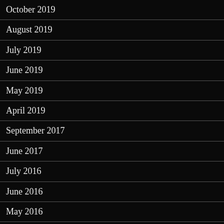October 2019
August 2019
July 2019
June 2019
May 2019
April 2019
September 2017
June 2017
July 2016
June 2016
May 2016
April 2016
March 2016